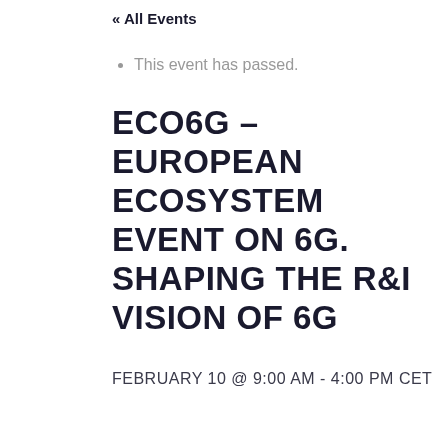« All Events
This event has passed.
ECO6G – EUROPEAN ECOSYSTEM EVENT ON 6G. SHAPING THE R&I VISION OF 6G
FEBRUARY 10 @ 9:00 AM - 4:00 PM CET